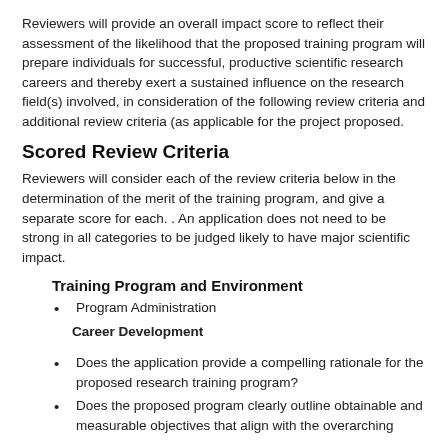Reviewers will provide an overall impact score to reflect their assessment of the likelihood that the proposed training program will prepare individuals for successful, productive scientific research careers and thereby exert a sustained influence on the research field(s) involved, in consideration of the following review criteria and additional review criteria (as applicable for the project proposed.
Scored Review Criteria
Reviewers will consider each of the review criteria below in the determination of the merit of the training program, and give a separate score for each. . An application does not need to be strong in all categories to be judged likely to have major scientific impact.
Training Program and Environment
Program Administration
Career Development
Does the application provide a compelling rationale for the proposed research training program?
Does the proposed program clearly outline obtainable and measurable objectives that align with the overarching